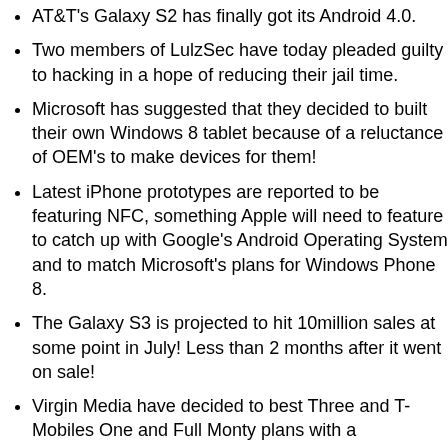AT&T's Galaxy S2 has finally got its Android 4.0.
Two members of LulzSec have today pleaded guilty to hacking in a hope of reducing their jail time.
Microsoft has suggested that they decided to built their own Windows 8 tablet because of a reluctance of OEM's to make devices for them!
Latest iPhone prototypes are reported to be featuring NFC, something Apple will need to feature to catch up with Google's Android Operating System and to match Microsoft's plans for Windows Phone 8.
The Galaxy S3 is projected to hit 10million sales at some point in July! Less than 2 months after it went on sale!
Virgin Media have decided to best Three and T-Mobiles One and Full Monty plans with a ridiculously cheap deal which offers truly unlimited internet access from £21 ($33) per month. The new 'Virgin Media Premiere plan' also